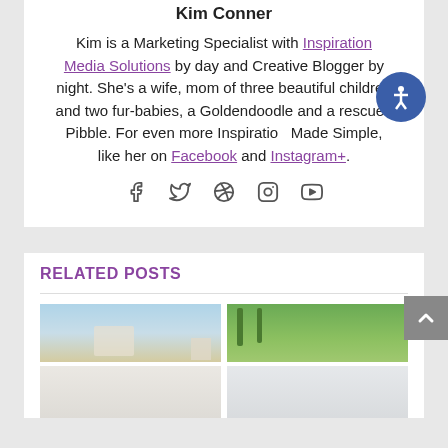Kim Conner
Kim is a Marketing Specialist with Inspiration Media Solutions by day and Creative Blogger by night. She's a wife, mom of three beautiful children and two fur-babies, a Goldendoodle and a rescued Pibble. For even more Inspiration Made Simple, like her on Facebook and Instagram+.
[Figure (infographic): Social media icons: Facebook, Twitter, Pinterest, Instagram, YouTube]
[Figure (infographic): Accessibility icon button (blue circle with person/wheelchair symbol)]
RELATED POSTS
[Figure (photo): Two columns of photos showing outdoor/beach scenes and park scenes, partially visible at bottom of page]